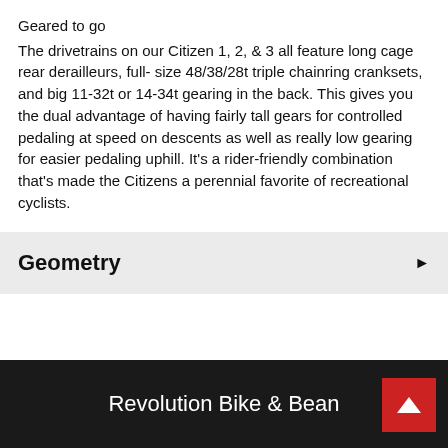Geared to go
The drivetrains on our Citizen 1, 2, & 3 all feature long cage rear derailleurs, full- size 48/38/28t triple chainring cranksets, and big 11-32t or 14-34t gearing in the back. This gives you the dual advantage of having fairly tall gears for controlled pedaling at speed on descents as well as really low gearing for easier pedaling uphill. It's a rider-friendly combination that's made the Citizens a perennial favorite of recreational cyclists.
Geometry
Revolution Bike & Bean